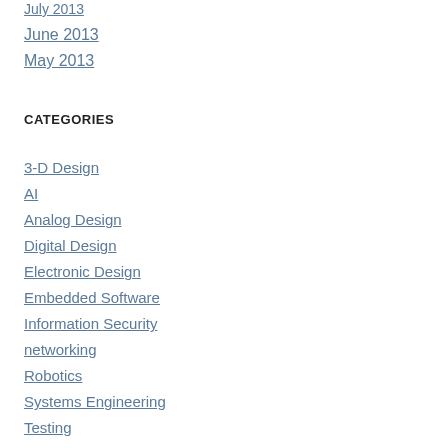July 2013
June 2013
May 2013
CATEGORIES
3-D Design
AI
Analog Design
Digital Design
Electronic Design
Embedded Software
Information Security
networking
Robotics
Systems Engineering
Testing
Uncategorized